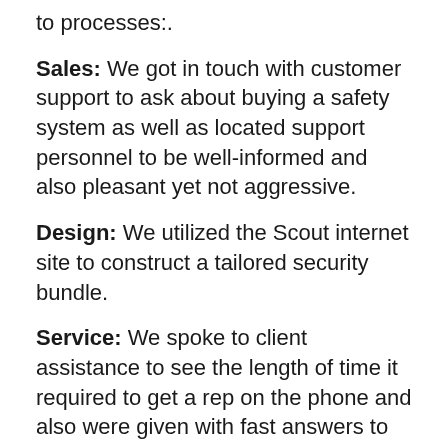to processes:.
Sales: We got in touch with customer support to ask about buying a safety system as well as located support personnel to be well-informed and also pleasant yet not aggressive.
Design: We utilized the Scout internet site to construct a tailored security bundle.
Service: We spoke to client assistance to see the length of time it required to get a rep on the phone and also were given with fast answers to questions.
Scout Alarm FAQs.